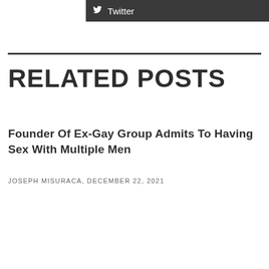[Figure (other): Twitter social share button bar with bird icon and 'Twitter' text on dark background]
RELATED POSTS
Founder Of Ex-Gay Group Admits To Having Sex With Multiple Men
JOSEPH MISURACA, DECEMBER 22, 2021